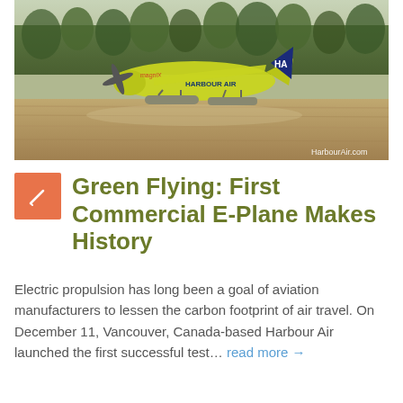[Figure (photo): Yellow and blue electric seaplane (Harbour Air) taking off or landing on water, with trees in the background. Watermark: HarbourAir.com]
Green Flying: First Commercial E-Plane Makes History
Electric propulsion has long been a goal of aviation manufacturers to lessen the carbon footprint of air travel. On December 11, Vancouver, Canada-based Harbour Air launched the first successful test… read more →